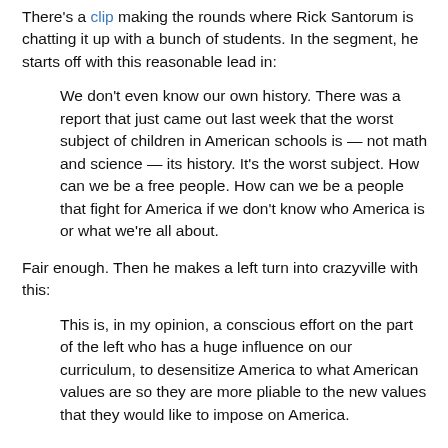There's a clip making the rounds where Rick Santorum is chatting it up with a bunch of students. In the segment, he starts off with this reasonable lead in:
We don't even know our own history. There was a report that just came out last week that the worst subject of children in American schools is — not math and science — its history. It's the worst subject. How can we be a free people. How can we be a people that fight for America if we don't know who America is or what we're all about.
Fair enough. Then he makes a left turn into crazyville with this:
This is, in my opinion, a conscious effort on the part of the left who has a huge influence on our curriculum, to desensitize America to what American values are so they are more pliable to the new values that they would like to impose on America.